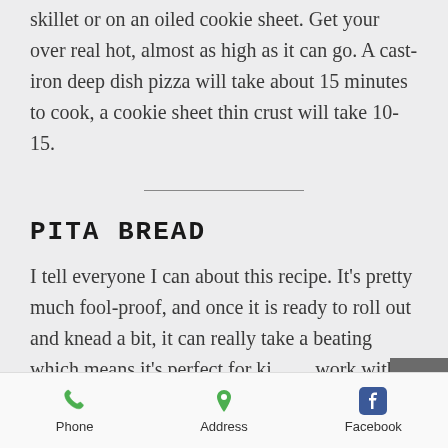skillet or on an oiled cookie sheet. Get your over real hot, almost as high as it can go. A cast-iron deep dish pizza will take about 15 minutes to cook, a cookie sheet thin crust will take 10-15.
PITA BREAD
I tell everyone I can about this recipe. It's pretty much fool-proof, and once it is ready to roll out and knead a bit, it can really take a beating which means it's perfect for kids to work with.  Please note when it comes time
Phone | Address | Facebook